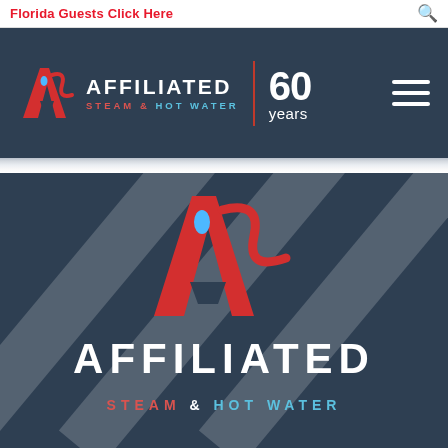Florida Guests Click Here
[Figure (logo): Affiliated Steam & Hot Water logo with 60 years badge and hamburger menu in dark navy header bar]
[Figure (logo): Large Affiliated Steam & Hot Water logo centered on dark navy hero background with diagonal stripe design]